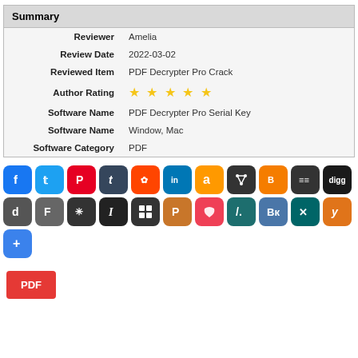| Field | Value |
| --- | --- |
| Reviewer | Amelia |
| Review Date | 2022-03-02 |
| Reviewed Item | PDF Decrypter Pro Crack |
| Author Rating | ★★★★★ |
| Software Name | PDF Decrypter Pro Serial Key |
| Software Name | Window, Mac |
| Software Category | PDF |
[Figure (infographic): Row of social media sharing icons: Facebook, Twitter, Pinterest, Tumblr, Reddit, LinkedIn, Amazon, network icon, Blogger, Buffer, Digg, Delicious, Flipboard, karma/bug icon, Instapaper, Myspace, Plurk, Pocket, slash/dev icon, VK, XING, Yummly, share+ button]
[Figure (other): Red PDF button]